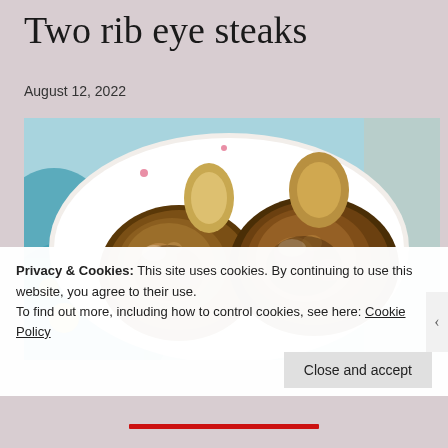Two rib eye steaks
August 12, 2022
[Figure (photo): Two cooked rib eye steaks on a decorative white plate with floral pattern, viewed from above. The steaks are well-browned with visible fat and char marks.]
Privacy & Cookies: This site uses cookies. By continuing to use this website, you agree to their use.
To find out more, including how to control cookies, see here: Cookie Policy
Close and accept